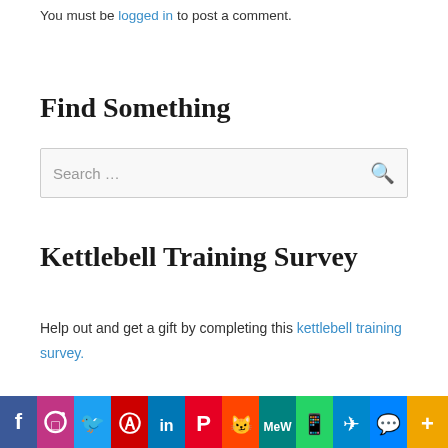You must be logged in to post a comment.
Find Something
Search …
Kettlebell Training Survey
Help out and get a gift by completing this kettlebell training survey.
[Figure (infographic): Social media sharing bar with icons: Facebook, Instagram, Twitter, Parler, LinkedIn, Pinterest, Reddit, MeWe, WhatsApp, Telegram, Messenger, More]